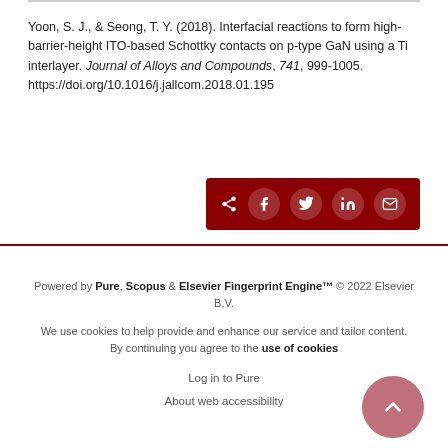Yoon, S. J., & Seong, T. Y. (2018). Interfacial reactions to form high-barrier-height ITO-based Schottky contacts on p-type GaN using a Ti interlayer. Journal of Alloys and Compounds, 741, 999-1005. https://doi.org/10.1016/j.jallcom.2018.01.195
[Figure (other): Dark red share bar with icons for share, Facebook, Twitter, LinkedIn, and email]
Powered by Pure, Scopus & Elsevier Fingerprint Engine™ © 2022 Elsevier B.V.

We use cookies to help provide and enhance our service and tailor content. By continuing you agree to the use of cookies

Log in to Pure

About web accessibility